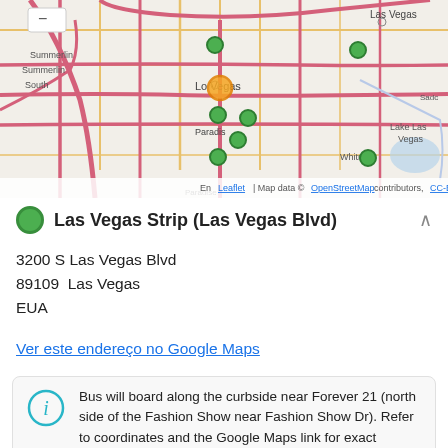[Figure (map): Interactive Leaflet map centered on Las Vegas, NV showing green location pins on the Las Vegas Strip area and one orange/gold selected pin. Roads shown in pink/red (major) and orange (secondary). Areas labeled include Summerlin, Summerlin South, Las Vegas, Paradise, Whitney, Lake Las Vegas, Sado. Attribution: Leaflet | Map data © OpenStreetMap contributors, CC-BY-SA]
Las Vegas Strip (Las Vegas Blvd)
3200 S Las Vegas Blvd
89109  Las Vegas
EUA
Ver este endereço no Google Maps
Bus will board along the curbside near Forever 21 (north side of the Fashion Show near Fashion Show Dr). Refer to coordinates and the Google Maps link for exact location.